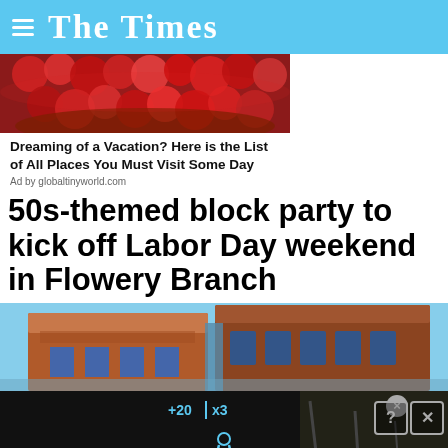The Times
[Figure (photo): Close-up photo of red raspberries or red fluffy texture]
Dreaming of a Vacation? Here is the List of All Places You Must Visit Some Day
Ad by globaltinyworld.com
50s-themed block party to kick off Labor Day weekend in Flowery Branch
[Figure (photo): Brick building exterior with arched windows under blue sky]
[Figure (screenshot): Hold and Move overlay advertisement with counter bar showing +20 and x3, person icon, and Hold and Move text]